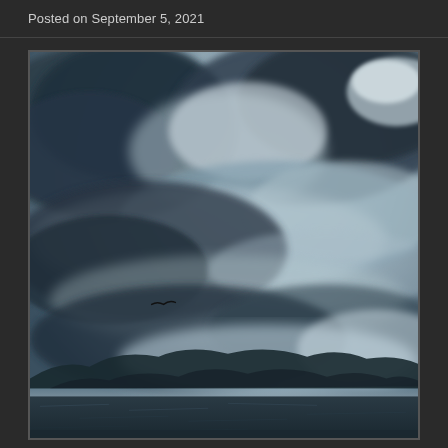Posted on September 5, 2021
[Figure (photo): Black and white / blue-tinted dramatic seascape photograph showing stormy clouds filling most of the frame, a small bird in flight in the lower-left area, distant mountains on the horizon, and a dark body of water (sea or lake) in the foreground bottom strip.]